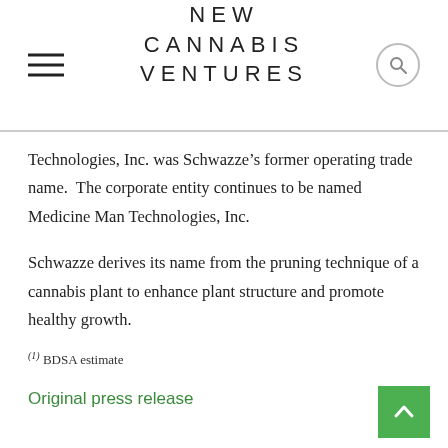NEW CANNABIS VENTURES
Technologies, Inc. was Schwazze’s former operating trade name.  The corporate entity continues to be named Medicine Man Technologies, Inc.
Schwazze derives its name from the pruning technique of a cannabis plant to enhance plant structure and promote healthy growth.
(1) BDSA estimate
Original press release